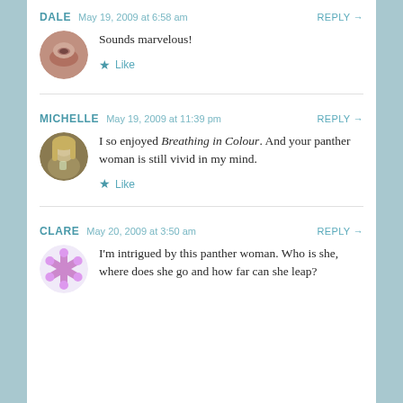DALE  May 19, 2009 at 6:58 am  REPLY →
Sounds marvelous!
★ Like
MICHELLE  May 19, 2009 at 11:39 pm  REPLY →
I so enjoyed Breathing in Colour. And your panther woman is still vivid in my mind.
★ Like
CLARE  May 20, 2009 at 3:50 am  REPLY →
I'm intrigued by this panther woman. Who is she, where does she go and how far can she leap?